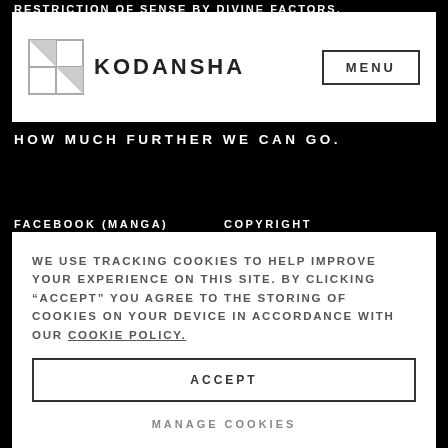RESTRICTION OF SENSE BY DIVINE FACTORS, PROFOUND PERSPECTIVES AND LIMITLESS
[Figure (logo): Kodansha logo with geometric square icon and wordmark KODANSHA, plus MENU button]
HOW MUCH FURTHER WE CAN GO.
FACEBOOK (MANGA)
COPYRIGHT
INSTAGRAM (MANGA)
TERMS OF USE
TWITTER (MANGA)
PRIVACY POLICY
WE USE TRACKING COOKIES TO HELP IMPROVE YOUR EXPERIENCE ON THIS SITE. BY CLICKING “ACCEPT” YOU AGREE TO THE STORING OF COOKIES ON YOUR DEVICE IN ACCORDANCE WITH OUR COOKIE POLICY.
ACCEPT
MANAGE COOKIES